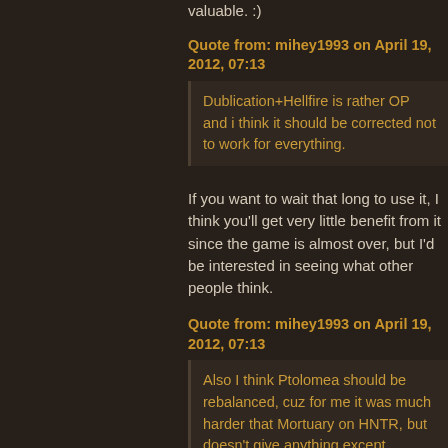valuable. :)
Quote from: mihey1993 on April 19, 2012, 07:13
Dublication+Hellfire is rather OP and i think it should be corrected not to work for everything.
If you want to wait that long to use it, I think you'll get very little benefit from it since the game is almost over, but I'd be interested in seeing what other people think.
Quote from: mihey1993 on April 19, 2012, 07:13
Also I think Ptolomea should be rebalanced, cuz for me it was much harder that Mortuary on HNTR, but doesn't give anything except